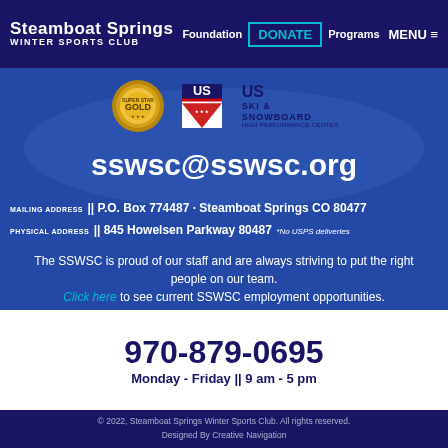Steamboat Springs WINTER SPORTS CLUB | Foundation | DONATE | Programs | MENU
[Figure (logo): Gold medal award logo and US Ski & Snowboard High Performance Center logo]
sswsc@sswsc.org
MAILING ADDRESS || P.O. Box 774487 · Steamboat Springs CO 80477
PHYSICAL ADDRESS || 845 Howelsen Parkway 80487 *No USPS deliveries
The SSWSC is proud of our staff and are always striving to put the right people on our team. Click here to see current SSWSC employment opportunities.
970-879-0695
Monday - Friday || 9 am - 5 pm
© 2022, Steamboat Springs Winter Sports Club. All rights reserved. Designed By Creative Navigation